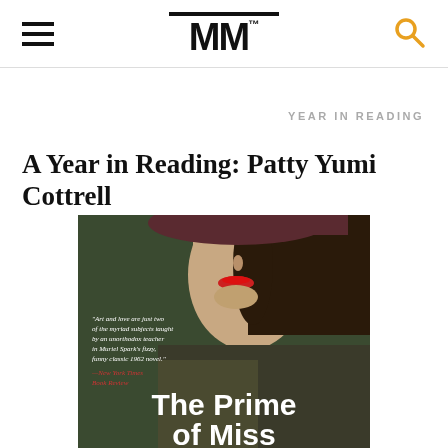MM
YEAR IN READING
A Year in Reading: Patty Yumi Cottrell
[Figure (photo): Book cover of 'The Prime of Miss' (partial view) showing a woman in a dark hat with red lipstick and a quote from New York Times Book Review: 'Art and love are just two of the myriad subjects taught by an unorthodox teacher in Muriel Spark's fizzy, funny classic 1962 novel.' The bottom of the cover shows the title text 'The Prime of Miss' in large white bold letters.]